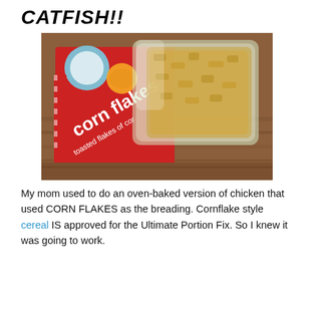CATFISH!!
[Figure (photo): A box of corn flakes cereal with an open plastic bag of corn flakes visible, sitting on a wooden surface.]
My mom used to do an oven-baked version of chicken that used CORN FLAKES as the breading. Cornflake style cereal IS approved for the Ultimate Portion Fix. So I knew it was going to work.